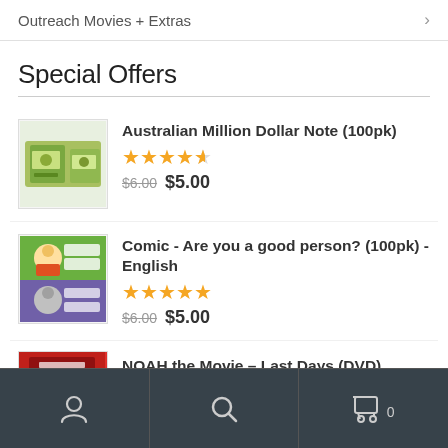Outreach Movies + Extras
Special Offers
Australian Million Dollar Note (100pk) — ★★★★½ — $6.00 $5.00
Comic - Are you a good person? (100pk) - English — ★★★★★ — $6.00 $5.00
NOAH the Movie – Last Days (DVD)
Person icon | Search icon | Cart icon (0)